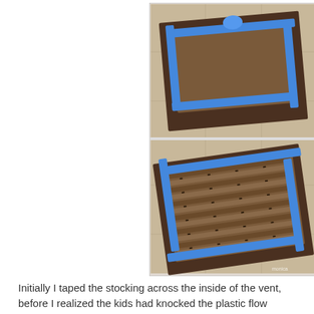[Figure (photo): Two photographs stacked vertically showing a floor air vent register with blue painter's tape applied around its edges. Top photo shows the vent from above with blue tape and a dark frame visible on a tile floor. Bottom photo shows a closer angled view of the same vent with wooden/brown slats and blue tape around the perimeter, sitting on a tile floor.]
Initially I taped the stocking across the inside of the vent, before I realized the kids had knocked the plastic flow director off the inside of the freaking thing—no biggie, it